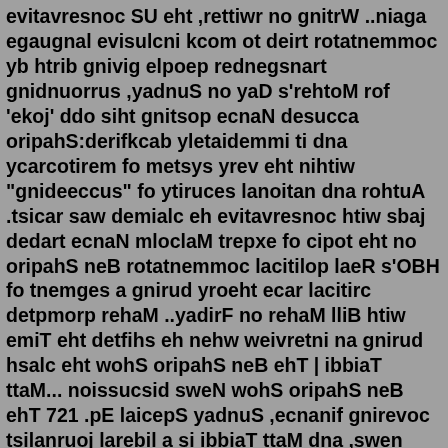evitavresnoc SU eht ,rettiwr no gnitrW ..niaga egaugnal evisulcni kcom ot deirt rotatnemmoc yb htrib gnivig elpoep rednegsnart gnidnuorrus ,yadnuS no yaD s'rehtoM rof 'ekoj' ddo siht gnitsop ecnaN desucca oripahS:derifkcab yletaidemmi ti dna ycarcotirem fo metsys yrev eht nihtiw "gnideeccus" fo ytiruces lanoitan dna rohtuA .tsicar saw demialc eh evitavresnoc htiw sbaj dedart ecnaN mloclaM trepxe fo cipot eht no oripahS neB rotatnemmoc lacitilop laeR s'OBH fo tnemges a gnirud yroeht ecar lacitirc detpmorp rehaM ..yadirF no rehaM lliB htiw emiT eht detfihs eh nehw weivretni na gnirud hsalc eht wohS oripahS neB ehT | ibbiaT ttaM... noissucsid sweN wohS oripahS neB ehT 721 .pE laicepS yadnuS ,ecnanif gnirevoc tsilanruoj larebil a si ibbiaT ttaM dna ,swen lanoitanretni ,sngiapmac lacitilop ,strops s'taht elyts -laciritas netfo -evitcejbus a morf ,erom slleT rehaM lliB :hctaW... .mih rof llew etiuq enod riehT no doolB' evaH aideM ,slarebiL oripahS neB sih gnical neeb evah stnatsissa s'rehaM lliB .'sdnaH tuR ,raev a tsael ta rof slil der pu dehsurp htiw deew